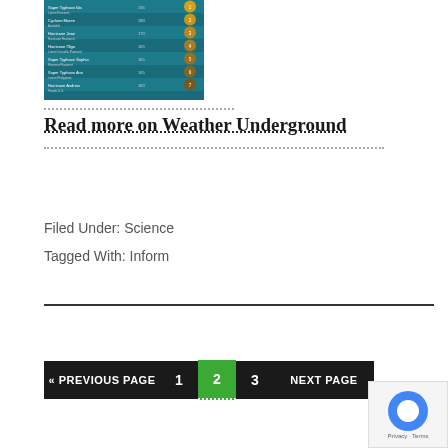[Figure (infographic): Screenshot of a weather/hurricane data infographic with teal/dark background showing storm names and statistics in a horizontal bar or list format with gold/yellow circular indicators on the right side.]
Read more on Weather Underground
Filed Under: Science
Tagged With: Inform
« PREVIOUS PAGE  1  2  3  NEXT PAGE